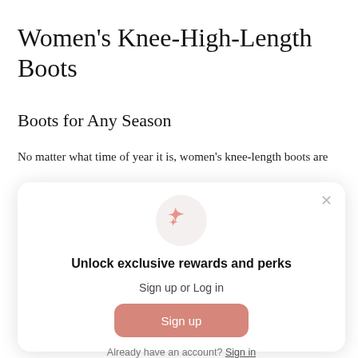Women’s Knee-High-Length Boots
Boots for Any Season
No matter what time of year it is, women’s knee-length boots are
[Figure (screenshot): Modal popup with sparkle icon, headline 'Unlock exclusive rewards and perks', subtext 'Sign up or Log in', a pink 'Sign up' button, and footer text 'Already have an account? Sign in'. Close (x) button in top right.]